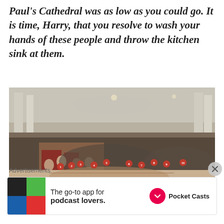Paul's Cathedral was as low as you could go. It is time, Harry, that you resolve to wash your hands of these people and throw the kitchen sink at them.
[Figure (photo): Wide-angle photograph of St Paul's Cathedral interior packed with seated attendees at a formal ceremony, numbered red circles overlaid on various people in the crowd, decorative mosaic floor visible in foreground, tall columns and ornate architecture in background.]
Advertisements
[Figure (other): Advertisement for Pocket Casts app: 'The go-to app for podcast lovers.' with Pocket Casts logo on right and colorful app icon on left.]